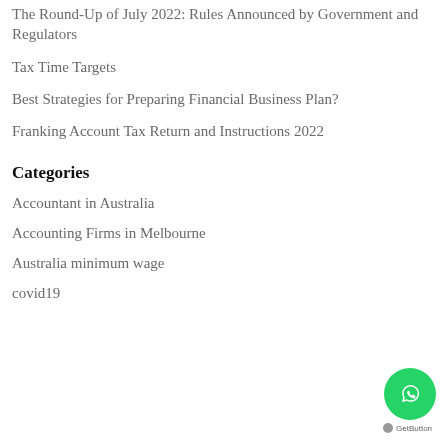The Round-Up of July 2022: Rules Announced by Government and Regulators
Tax Time Targets
Best Strategies for Preparing Financial Business Plan?
Franking Account Tax Return and Instructions 2022
Categories
Accountant in Australia
Accounting Firms in Melbourne
Australia minimum wage
covid19